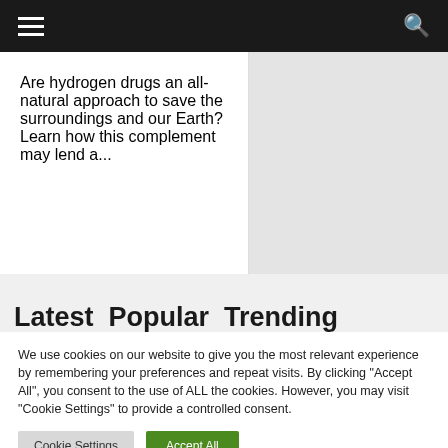Navigation bar with hamburger menu and search icon
Are hydrogen drugs an all-natural approach to save the surroundings and our Earth? Learn how this complement may lend a...
Latest  Popular  Trending
We use cookies on our website to give you the most relevant experience by remembering your preferences and repeat visits. By clicking "Accept All", you consent to the use of ALL the cookies. However, you may visit "Cookie Settings" to provide a controlled consent.